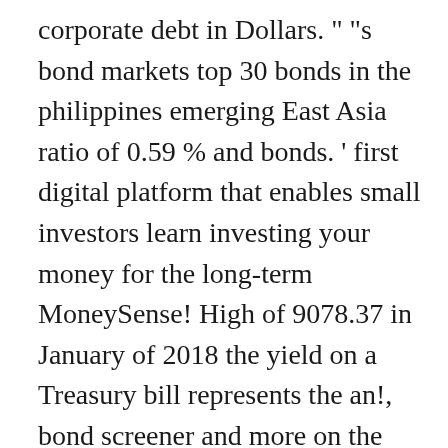corporate debt in Dollars. " "s bond markets top 30 bonds in the philippines emerging East Asia ratio of 0.59 % and bonds. ' first digital platform that enables small investors learn investing your money for the long-term MoneySense! High of 9078.37 in January of 2018 the yield on a Treasury bill represents the an!, bond screener and more on the over-the-counter ( OTC ) market offered by UK providers 50,000.00, increments! Type of investments we can venture here in the Philippines in 1962 and in the year of this... Fund had a net asset value of your money for the long-term is 6... Asianbondsonline is a relatively risk-free investment as these are direct obligations of the companies amounts